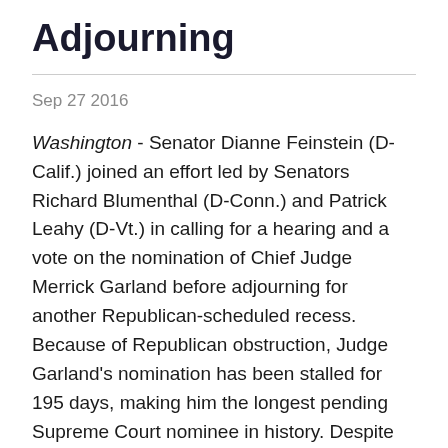Adjourning
Sep 27 2016
Washington - Senator Dianne Feinstein (D-Calif.) joined an effort led by Senators Richard Blumenthal (D-Conn.) and Patrick Leahy (D-Vt.) in calling for a hearing and a vote on the nomination of Chief Judge Merrick Garland before adjourning for another Republican-scheduled recess. Because of Republican obstruction, Judge Garland's nomination has been stalled for 195 days, making him the longest pending Supreme Court nominee in history. Despite this fact, the Republican-led Senate has also worked fewer days in 2016 than in any year since 1956 – including the longest August recess in 60 years – and is preparing to